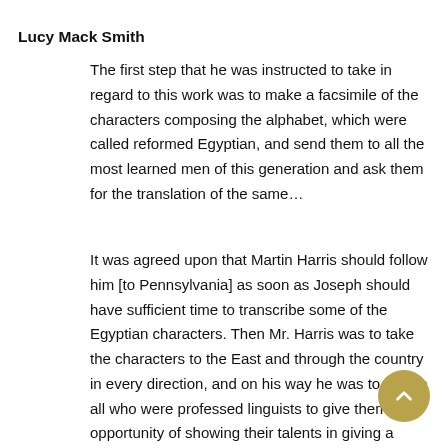Lucy Mack Smith
The first step that he was instructed to take in regard to this work was to make a facsimile of the characters composing the alphabet, which were called reformed Egyptian, and send them to all the most learned men of this generation and ask them for the translation of the same…
It was agreed upon that Martin Harris should follow him [to Pennsylvania] as soon as Joseph should have sufficient time to transcribe some of the Egyptian characters. Then Mr. Harris was to take the characters to the East and through the country in every direction, and on his way he was to call on all who were professed linguists to give them an opportunity of showing their talents in giving a translation of the characters. ( The Revised and Enhanced History of Joseph Smith by his Mother